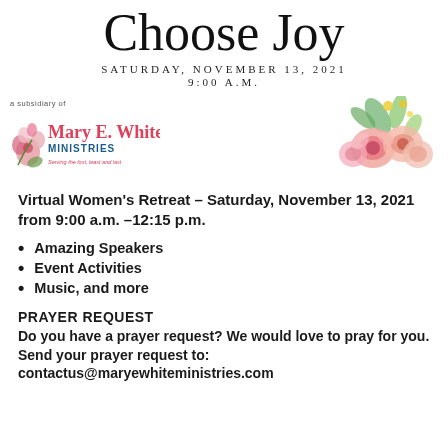Choose Joy
SATURDAY, NOVEMBER 13, 2021
9:00 A.M.
[Figure (logo): Mary E. White Ministries logo with floral decoration and tagline 'Serving the lost, least and last', subsidiary of text above]
[Figure (illustration): Watercolor floral bouquet illustration with pink and peach flowers and green leaves]
Virtual Women's Retreat – Saturday, November 13, 2021 from 9:00 a.m. –12:15 p.m.
Amazing Speakers
Event Activities
Music, and more
PRAYER REQUEST
Do you have a prayer request? We would love to pray for you. Send your prayer request to: contactus@maryewhiteministries.com